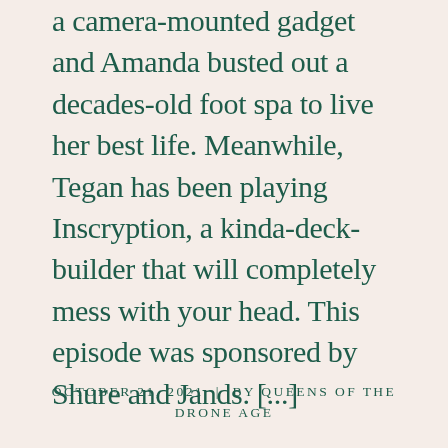a camera-mounted gadget and Amanda busted out a decades-old foot spa to live her best life. Meanwhile, Tegan has been playing Inscryption, a kinda-deck-builder that will completely mess with your head. This episode was sponsored by Shure and Jands. [...]
OCTOBER 21, 2021  |  BY QUEENS OF THE DRONE AGE